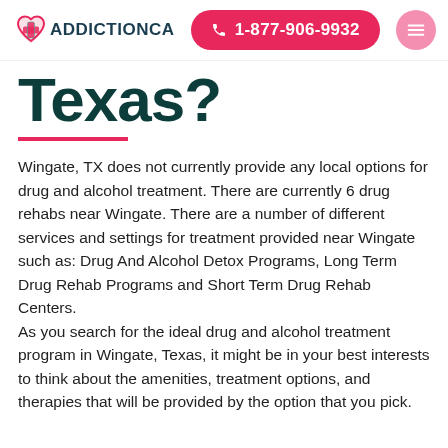ADDICTIONCA  1-877-906-9932
Texas?
Wingate, TX does not currently provide any local options for drug and alcohol treatment. There are currently 6 drug rehabs near Wingate. There are a number of different services and settings for treatment provided near Wingate such as: Drug And Alcohol Detox Programs, Long Term Drug Rehab Programs and Short Term Drug Rehab Centers.
As you search for the ideal drug and alcohol treatment program in Wingate, Texas, it might be in your best interests to think about the amenities, treatment options, and therapies that will be provided by the option that you pick.